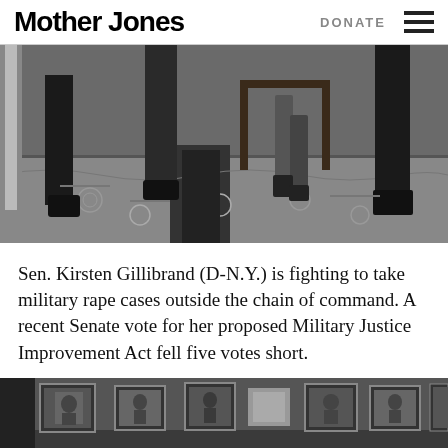Mother Jones | DONATE
[Figure (photo): Black and white photo showing legs and feet of people in formal attire standing on an ornate tiled floor, likely inside the US Capitol building.]
Sen. Kirsten Gillibrand (D-N.Y.) is fighting to take military rape cases outside the chain of command. A recent Senate vote for her proposed Military Justice Improvement Act fell five votes short.
[Figure (photo): Black and white photo of a hallway lined with framed portraits, likely official congressional or governmental portraits.]